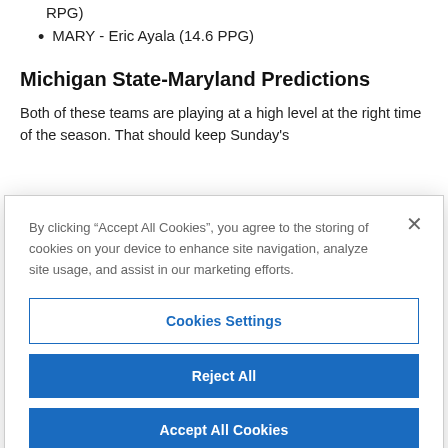RPG)
MARY - Eric Ayala (14.6 PPG)
Michigan State-Maryland Predictions
Both of these teams are playing at a high level at the right time of the season. That should keep Sunday's
By clicking “Accept All Cookies”, you agree to the storing of cookies on your device to enhance site navigation, analyze site usage, and assist in our marketing efforts.
Cookies Settings
Reject All
Accept All Cookies